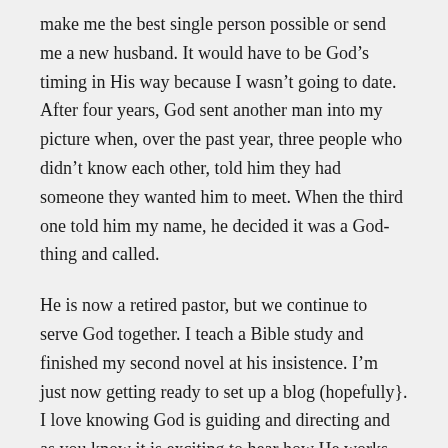make me the best single person possible or send me a new husband. It would have to be God’s timing in His way because I wasn’t going to date. After four years, God sent another man into my picture when, over the past year, three people who didn’t know each other, told him they had someone they wanted him to meet. When the third one told him my name, he decided it was a God-thing and called.
He is now a retired pastor, but we continue to serve God together. I teach a Bible study and finished my second novel at his insistence. I’m just now getting ready to set up a blog (hopefully}. I love knowing God is guiding and directing and as you know it is exciting to hear how He works through your words.
I’ll be looking forward to your posts. I’d love for you to